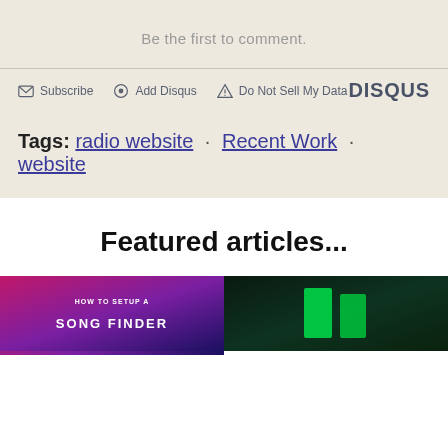Be the first to comment.
Subscribe · Add Disqus · Do Not Sell My Data · DISQUS
Tags: radio website · Recent Work · website
Featured articles...
[Figure (photo): Thumbnail image for article about how to setup a song finder]
[Figure (photo): Thumbnail image for article with green neon sign]